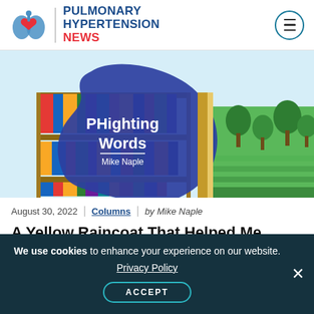PULMONARY HYPERTENSION NEWS
[Figure (illustration): Illustrated hero image for 'PHighting Words' column by Mike Naple. Shows colorful bookshelves on the left with a large dark blue paint splatter in the center overlaying the text 'PHighting Words / Mike Naple', and green trees/landscape on the right side.]
August 30, 2022 | Columns | by Mike Naple
A Yellow Raincoat That Helped Me Process
We use cookies to enhance your experience on our website. Privacy Policy ACCEPT